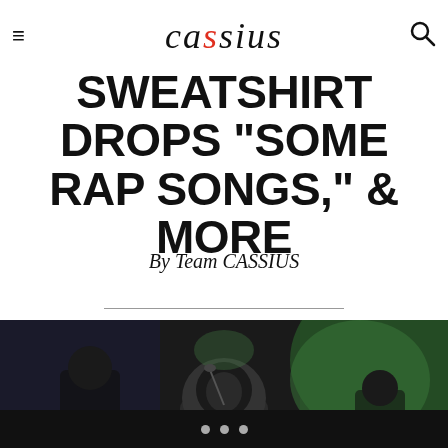cassius
SWEATSHIRT DROPS "SOME RAP SONGS," & MORE
By Team CASSIUS
[Figure (photo): A performer in a dark hoodie on stage with musicians behind them under green/teal stage lighting]